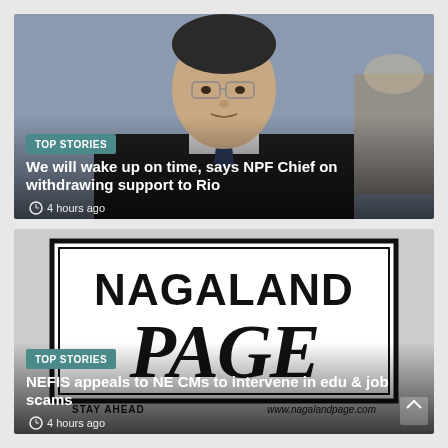[Figure (photo): Photograph of an older Asian man wearing glasses and a dark suit with tie, upper body visible]
TOP STORIES
We will wake up on time, says NPF Chief on withdrawing support to Rio
4 hours ago
[Figure (logo): Nagaland Page newspaper logo — bold black text reading NAGALAND PAGE in serif/sans style with double border box. Footer text: STAY AHEAD and www.nagalandpage.com]
TOP STORIES
NEFIS appeals to NE CMs to intervene in edu & job scams
4 hours ago